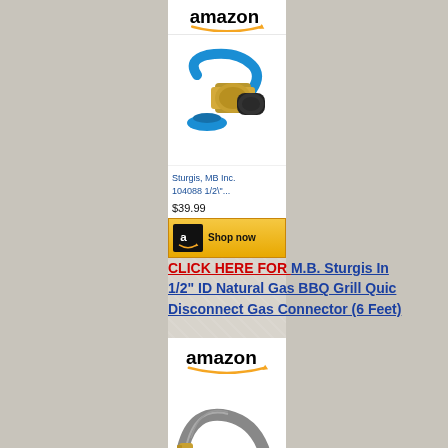[Figure (screenshot): Amazon product card showing a Sturgis MB Inc. 104088 1/2" gas connector fitting with blue handle, priced at $39.99, with a Shop now button]
CLICK HERE FOR M.B. Sturgis Inc 1/2" ID Natural Gas BBQ Grill Quick Disconnect Gas Connector (6 Feet)
[Figure (screenshot): Amazon product card showing a grey flexible gas hose connector, partially visible]